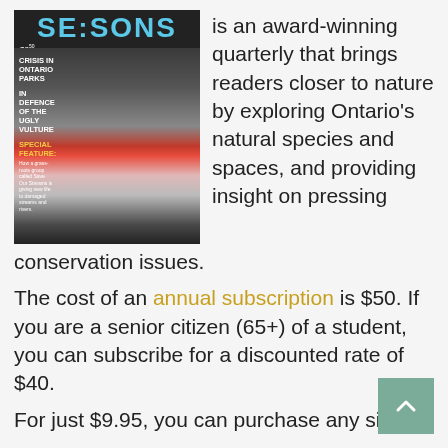[Figure (photo): Magazine cover of 'Seasons' quarterly showing a close-up of a vulture's head. Cover headlines include 'Crisis in Ontario Parks', 'In Defence of the Ugly Vulture', and 'Special Feature' about Save Our Streams group. Price shown as $2.50.]
is an award-winning quarterly that brings readers closer to nature by exploring Ontario's natural species and spaces, and providing insight on pressing conservation issues.
The cost of an annual subscription is $50. If you are a senior citizen (65+) of a student, you can subscribe for a discounted rate of $40.
For just $9.95, you can purchase any single